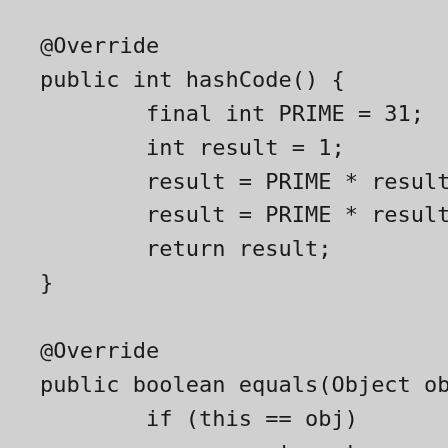@Override
public int hashCode() {
        final int PRIME = 31;
        int result = 1;
        result = PRIME * result + (ir
        result = PRIME * result + (ir
        return result;
}

@Override
public boolean equals(Object obj)
        if (this == obj)
                return true;
        if (obj == null)
                return false;